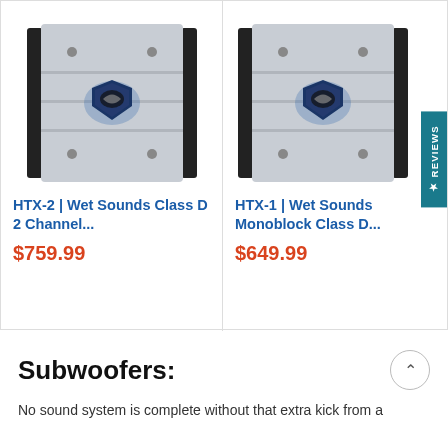[Figure (photo): HTX-2 Wet Sounds Class D 2 Channel amplifier product photo - silver rectangular amplifier with black side rails and blue shield logo]
HTX-2 | Wet Sounds Class D 2 Channel...
$759.99
[Figure (photo): HTX-1 Wet Sounds Monoblock Class D amplifier product photo - silver rectangular amplifier with black side rails and blue shield logo]
HTX-1 | Wet Sounds Monoblock Class D...
$649.99
Subwoofers:
No sound system is complete without that extra kick from a